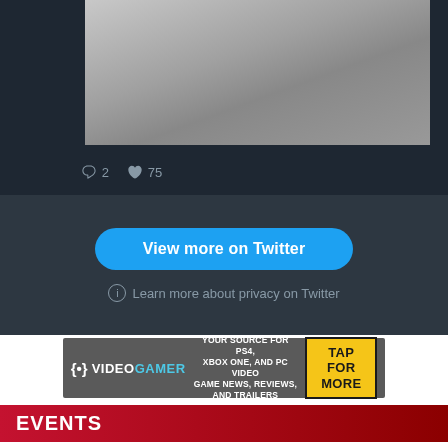[Figure (screenshot): Twitter tweet image showing concrete pavement/floor tiles, with social icons showing 2 comments and 75 likes]
2   75
View more on Twitter
Learn more about privacy on Twitter
[Figure (illustration): VideoGamer advertisement banner: logo on left, 'YOUR SOURCE FOR PS4, XBOX ONE, AND PC VIDEO GAME NEWS, REVIEWS, AND TRAILERS' in center, yellow 'TAP FOR MORE' button on right]
EVENTS
[Figure (illustration): VideoGamer advertisement banner: logo on left, 'YOUR SOURCE FOR PS4, XBOX ONE, AND PC VIDEO GAME NEWS, REVIEWS, AND TRAILERS' in center, yellow 'TAP FOR MORE' button on right]